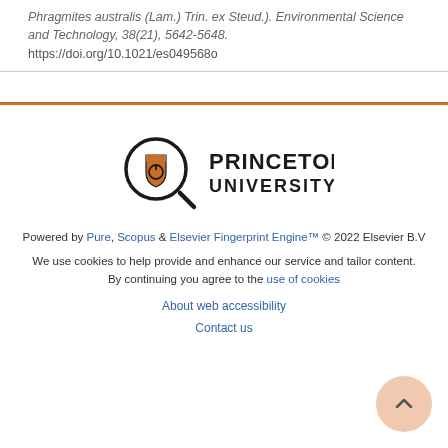Phragmites australis (Lam.) Trin. ex Steud.). Environmental Science and Technology, 38(21), 5642-5648. https://doi.org/10.1021/es049568o
[Figure (logo): Princeton University logo with magnifying glass icon containing a shield/crest, and text 'PRINCETON UNIVERSITY']
Powered by Pure, Scopus & Elsevier Fingerprint Engine™ © 2022 Elsevier B.V
We use cookies to help provide and enhance our service and tailor content. By continuing you agree to the use of cookies
About web accessibility
Contact us